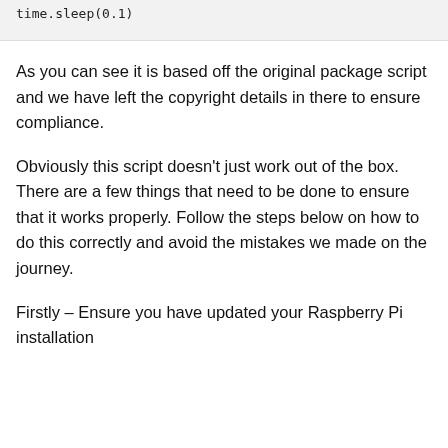[Figure (screenshot): Code block showing: time.sleep(0.1)]
As you can see it is based off the original package script and we have left the copyright details in there to ensure compliance.
Obviously this script doesn't just work out of the box. There are a few things that need to be done to ensure that it works properly. Follow the steps below on how to do this correctly and avoid the mistakes we made on the journey.
Firstly – Ensure you have updated your Raspberry Pi installation